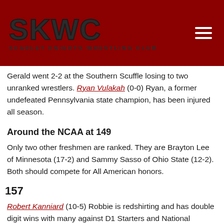SKWC SCARLET KNIGHTS WRESTLING CLUB
Gerald went 2-2 at the Southern Scuffle losing to two unranked wrestlers. Ryan Vulakah (0-0) Ryan, a former undefeated Pennsylvania state champion, has been injured all season.
Around the NCAA at 149
Only two other freshmen are ranked. They are Brayton Lee of Minnesota (17-2) and Sammy Sasso of Ohio State (12-2). Both should compete for All American honors.
157
Robert Kanniard (10-5) Robbie is redshirting and has double digit wins with many against D1 Starters and National Qualifiers. Last year, Rob was an undefeated NJ State Champion.